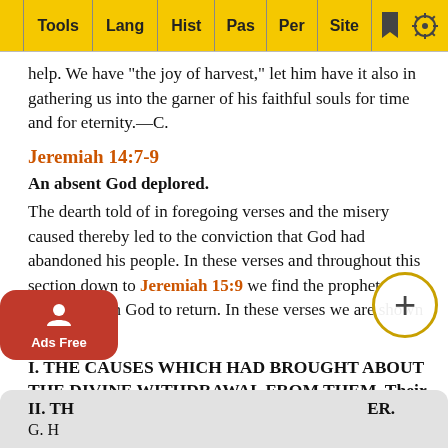Tools | Lang | Hist | Pas | Per | Site
help. We have "the joy of harvest," let him have it also in gathering us into the garner of his faithful souls for time and for eternity.—C.
Jeremiah 14:7-9
An absent God deplored.
The dearth told of in foregoing verses and the misery caused thereby led to the conviction that God had abandoned his people. In these verses and throughout this section down to Jeremiah 15:9 we find the prophet pleading with God to return. In these verses we are shown—
I. THE CAUSES WHICH HAD BROUGHT ABOUT THE DIVINE WITHDRAWAL FROM THEM. Their "iniquities," "backslidings," "sins" (Jeremiah 15:7). Nothing else has such power: sin only can shut out God, but it always will and does.
II. TH                                                                                                         ER.